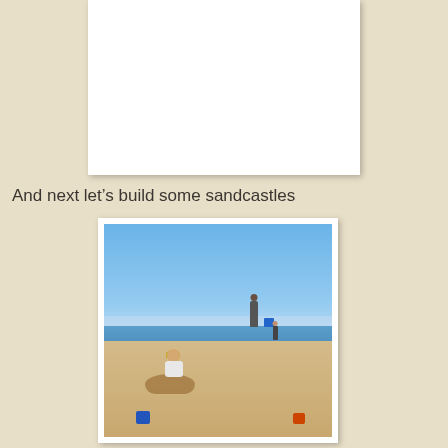[Figure (photo): A white rectangular photo frame/placeholder at the top center of the page, appears blank/white]
And next let's build some sandcastles
[Figure (photo): A beach scene photo with white border: blue sky, sea in the background, a child with yellow hair accessory sitting in the sand building sandcastles in the foreground, a standing figure with a blue bucket in the middle distance, blue buckets scattered on the sand]